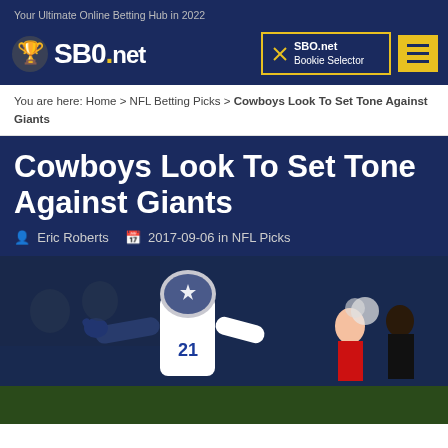Your Ultimate Online Betting Hub in 2022
[Figure (logo): SBO.net logo with trophy icon on dark blue background]
SBO.net Bookie Selector
You are here: Home > NFL Betting Picks > Cowboys Look To Set Tone Against Giants
Cowboys Look To Set Tone Against Giants
Eric Roberts  2017-09-06 in NFL Picks
[Figure (photo): Dallas Cowboys player #21 celebrating on the field, wearing white uniform with blue gloves, arms outstretched, cheerleader and crowd in background]